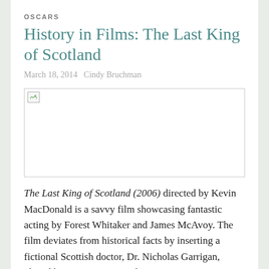OSCARS
History in Films: The Last King of Scotland
March 18, 2014   Cindy Bruchman
[Figure (photo): Placeholder image box with broken image icon in top-left corner]
The Last King of Scotland (2006) directed by Kevin MacDonald is a savvy film showcasing fantastic acting by Forest Whitaker and James McAvoy. The film deviates from historical facts by inserting a fictional Scottish doctor, Dr. Nicholas Garrigan, played by McAvoy. Set in the 1970s,